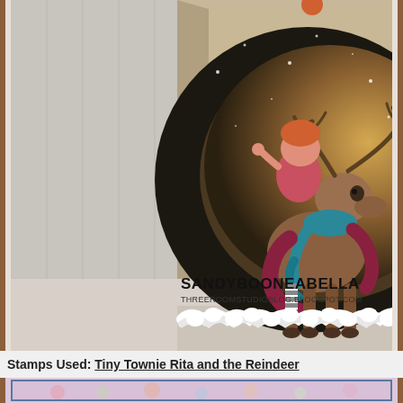[Figure (photo): A handmade craft card featuring a whimsical reindeer illustration with a girl riding it, wearing a teal scarf and burgundy outfit, set against a circular moon-like background on kraft cardstock. The card is displayed at an angle with a snowy lace trim at the bottom. Below the image on the card it reads 'SANDYBOONEABELLA' and 'THREEROOMSTUDIOBLOG.BLOGSPOT.COM'.]
Stamps Used: Tiny Townie Rita and the Reindeer
[Figure (photo): Partial view of a second craft card with a pink/lavender background and floral design with a dark border, partially visible at the bottom of the page.]